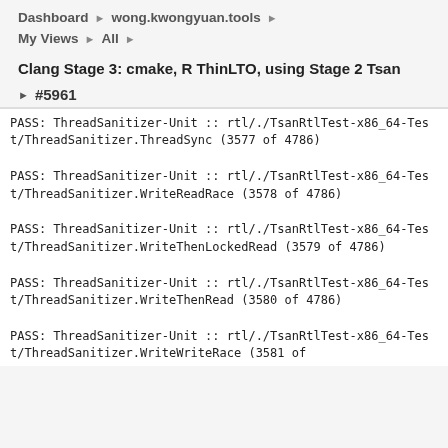Dashboard ▶ wong.kwongyuan.tools ▶
My Views ▶ All ▶
Clang Stage 3: cmake, R ThinLTO, using Stage 2 Tsan
▶ #5961
PASS: ThreadSanitizer-Unit :: rtl/./TsanRtlTest-x86_64-Test/ThreadSanitizer.ThreadSync (3577 of 4786)
PASS: ThreadSanitizer-Unit :: rtl/./TsanRtlTest-x86_64-Test/ThreadSanitizer.WriteReadRace (3578 of 4786)
PASS: ThreadSanitizer-Unit :: rtl/./TsanRtlTest-x86_64-Test/ThreadSanitizer.WriteThenLockedRead (3579 of 4786)
PASS: ThreadSanitizer-Unit :: rtl/./TsanRtlTest-x86_64-Test/ThreadSanitizer.WriteThenRead (3580 of 4786)
PASS: ThreadSanitizer-Unit :: rtl/./TsanRtlTest-x86_64-Test/ThreadSanitizer.WriteWriteRace (3581 of